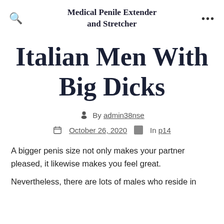Medical Penile Extender and Stretcher
Italian Men With Big Dicks
By admin38nse
October 26, 2020  In p14
A bigger penis size not only makes your partner pleased, it likewise makes you feel great. Nevertheless, there are lots of males who reside in anxiety that their penis size is naturally small.